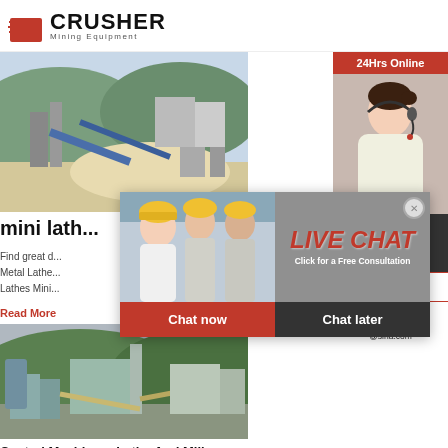[Figure (logo): Crusher Mining Equipment logo with red shopping bag icon and bold CRUSHER text]
[Figure (photo): Mining equipment / crusher machinery site with gravel and industrial conveyor belt structures]
mini lath...
Find great d... Metal Lathe... Lathes Mini...
Read More
[Figure (photo): Central machinery plant with industrial buildings, conveyor belts, and green mountain backdrop]
Central Machinery Lathe And Mill -
[Figure (photo): 24Hrs Online customer service representative with headset]
Need questions & suggestion?
Chat Now
Enquiry
limingjlmofen@sina.com
[Figure (photo): Live Chat overlay with construction workers in yellow helmets and LIVE CHAT text with Chat now and Chat later buttons]